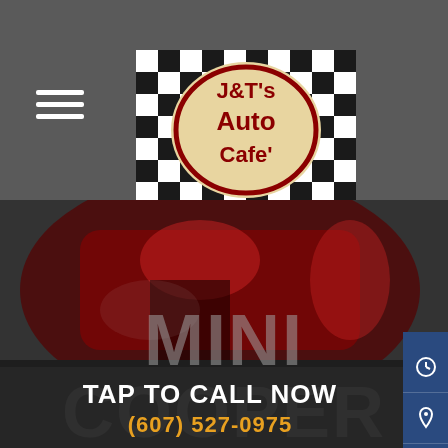[Figure (logo): J&T's Auto Cafe logo with checkered flag background, red bold text on cream/white circular emblem]
[Figure (photo): Close-up photo of a red car (Mini Cooper) engine or body parts, dark/moody lighting]
TAP TO CALL NOW
(607) 527-0975
MINI COOPER